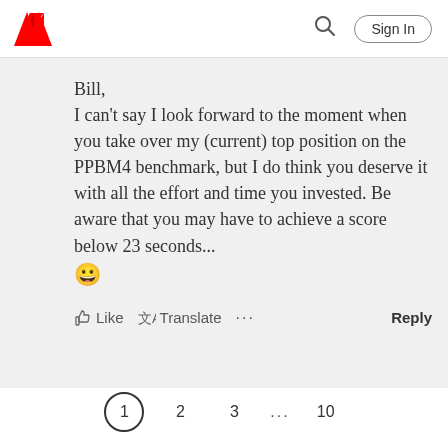Adobe logo | Search | Sign In
Bill,
I can't say I look forward to the moment when you take over my (current) top position on the PPBM4 benchmark, but I do think you deserve it with all the effort and time you invested. Be aware that you may have to achieve a score below 23 seconds... 😀
Like  Translate  ...  Reply
1  2  3  ...  10